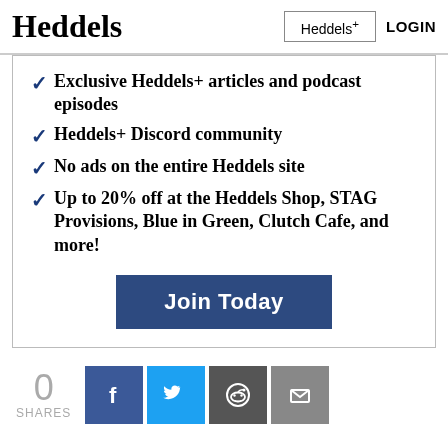Heddels | Heddels+ | LOGIN
Exclusive Heddels+ articles and podcast episodes
Heddels+ Discord community
No ads on the entire Heddels site
Up to 20% off at the Heddels Shop, STAG Provisions, Blue in Green, Clutch Cafe, and more!
Join Today
0 SHARES